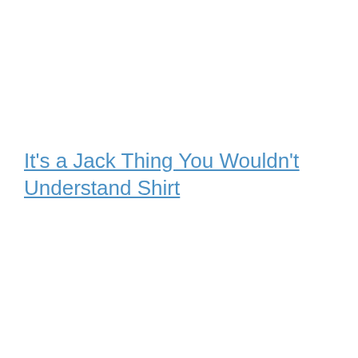It's a Jack Thing You Wouldn't Understand Shirt